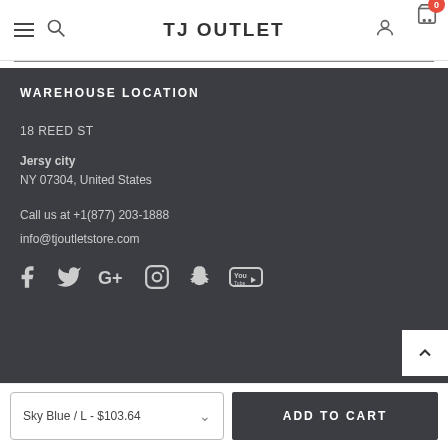TJ OUTLET
WAREHOUSE LOCATION
18 REED ST
Jersy city
NY 07304, United States
Call us at +1(877) 203-1888
info@tjoutletstore.com
[Figure (other): Social media icons row: Facebook, Twitter, Google+, Instagram, Snapchat, YouTube]
Sky Blue / L - $103.64
ADD TO CART